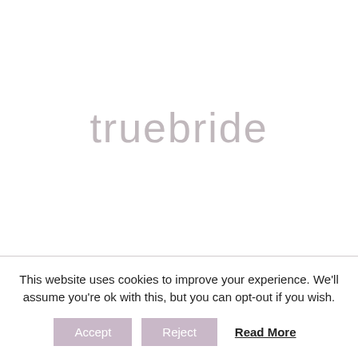[Figure (logo): truebride logo in light gray sans-serif font centered on white background]
This website uses cookies to improve your experience. We'll assume you're ok with this, but you can opt-out if you wish.
Accept   Reject   Read More